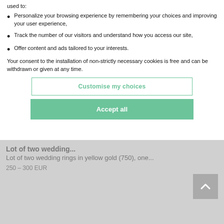used to:
Personalize your browsing experience by remembering your choices and improving your user experience,
Track the number of our visitors and understand how you access our site,
Offer content and ads tailored to your interests.
Your consent to the installation of non-strictly necessary cookies is free and can be withdrawn or given at any time.
Customise my choices
Accept all
Lot of two wedding rings...
Lot of two wedding rings in yellow gold (750), one...
250 – 300 EUR